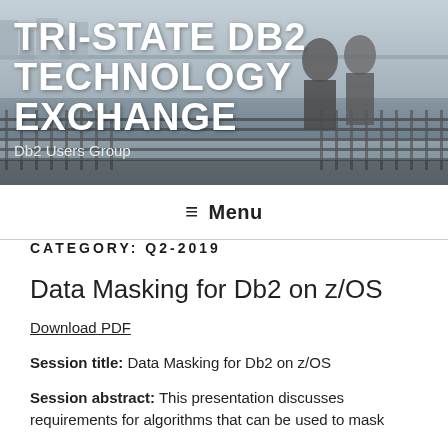[Figure (photo): Header banner with city skyline and two people walking, serving as website header background]
TRI-STATE DB2 TECHNOLOGY EXCHANGE
Db2 Users Group
≡ Menu
CATEGORY: Q2-2019
Data Masking for Db2 on z/OS
Download PDF
Session title: Data Masking for Db2 on z/OS
Session abstract: This presentation discusses requirements for algorithms that can be used to mask